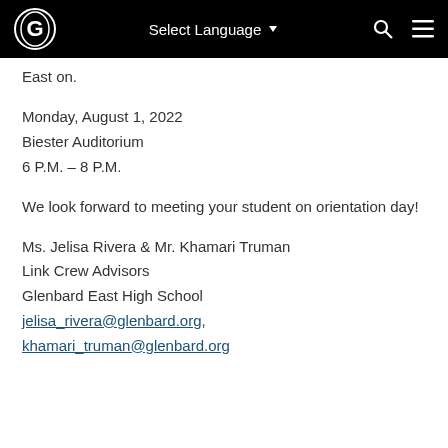G  Select Language  🔍  ☰
East on.
Monday, August 1, 2022
Biester Auditorium
6 P.M. – 8 P.M.
We look forward to meeting your student on orientation day!
Ms. Jelisa Rivera & Mr. Khamari Truman
Link Crew Advisors
Glenbard East High School
jelisa_rivera@glenbard.org,
khamari_truman@glenbard.org